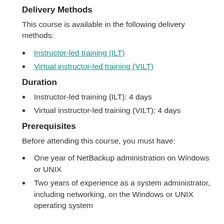Delivery Methods
This course is available in the following delivery methods:
Instructor-led training (ILT)
Virtual instructor-led training (VILT)
Duration
Instructor-led training (ILT): 4 days
Virtual instructor-led training (VILT): 4 days
Prerequisites
Before attending this course, you must have:
One year of NetBackup administration on Windows or UNIX
Two years of experience as a system administrator, including networking, on the Windows or UNIX operating system